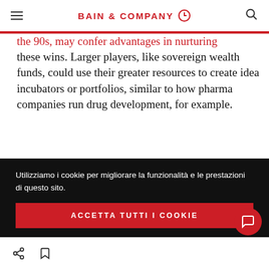BAIN & COMPANY
the 90s, may confer advantages in nurturing these wins. Larger players, like sovereign wealth funds, could use their greater resources to create idea incubators or portfolios, similar to how pharma companies run drug development, for example.
Recent history has shown that innovations tend
Utilizziamo i cookie per migliorare la funzionalità e le prestazioni di questo sito.
ACCETTA TUTTI I COOKIE